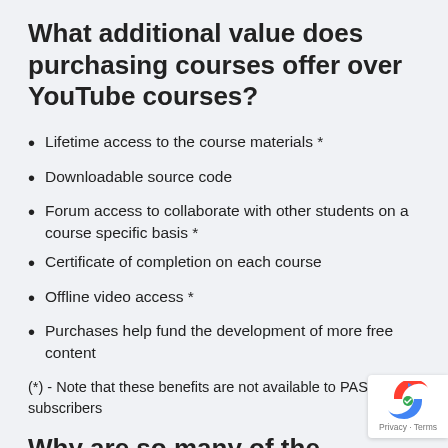What additional value does purchasing courses offer over YouTube courses?
Lifetime access to the course materials *
Downloadable source code
Forum access to collaborate with other students on a course specific basis *
Certificate of completion on each course
Offline video access *
Purchases help fund the development of more free content
(*) - Note that these benefits are not available to PASS subscribers
Why are so many of the materials available for free on YouTube?